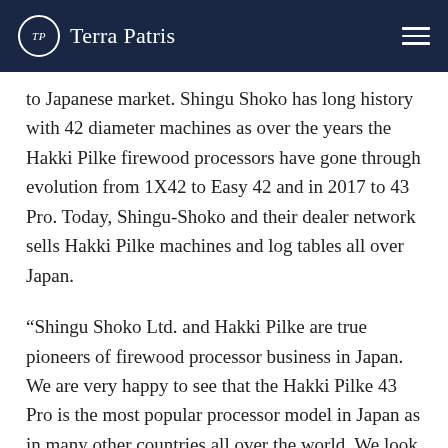Terra Patris
to Japanese market. Shingu Shoko has long history with 42 diameter machines as over the years the Hakki Pilke firewood processors have gone through evolution from 1X42 to Easy 42 and in 2017 to 43 Pro. Today, Shingu-Shoko and their dealer network sells Hakki Pilke machines and log tables all over Japan.
“Shingu Shoko Ltd. and Hakki Pilke are true pioneers of firewood processor business in Japan. We are very happy to see that the Hakki Pilke 43 Pro is the most popular processor model in Japan as in many other countries all over the world. We look forward to the next 20